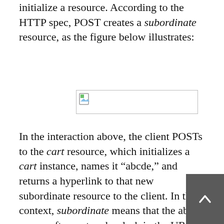initialize a resource. According to the HTTP spec, POST creates a subordinate resource, as the figure below illustrates:
[Figure (other): A broken/placeholder image box representing a figure illustrating a POST interaction creating a subordinate resource.]
In the interaction above, the client POSTs to the cart resource, which initializes a cart instance, names it “abcde,” and returns a hyperlink to that new subordinate resource to the client. In this context, subordinate means that the abcde comes after cart and a slash in the URI http://example.com/cart/abcde.